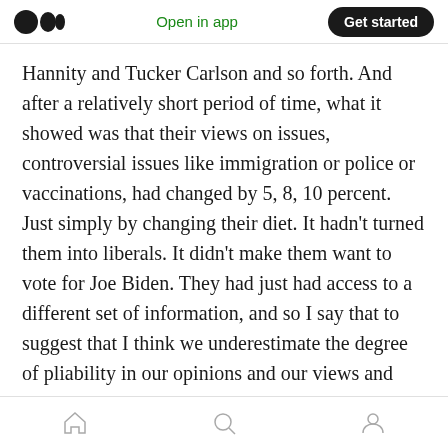Open in app | Get started
Hannity and Tucker Carlson and so forth. And after a relatively short period of time, what it showed was that their views on issues, controversial issues like immigration or police or vaccinations, had changed by 5, 8, 10 percent. Just simply by changing their diet. It hadn't turned them into liberals. It didn't make them want to vote for Joe Biden. They had just had access to a different set of information, and so I say that to suggest that I think we underestimate the degree of pliability in our opinions and our views and what that means. I take that as
Home | Search | Profile